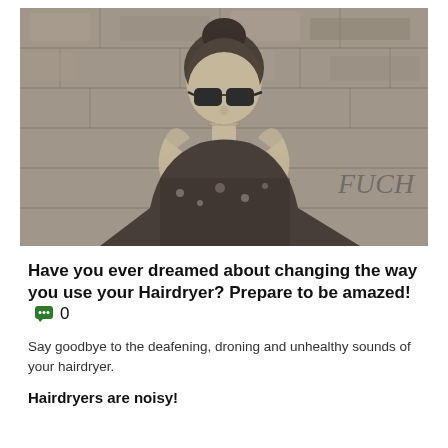[Figure (photo): Black and white photo of a smiling woman with hair up in a bun, wearing sunglasses and a patterned top, holding her hands to her cheeks, with a stone wall background]
Have you ever dreamed about changing the way you use your Hairdryer? Prepare to be amazed! 0
Say goodbye to the deafening, droning and unhealthy sounds of your hairdryer.
Hairdryers are noisy!